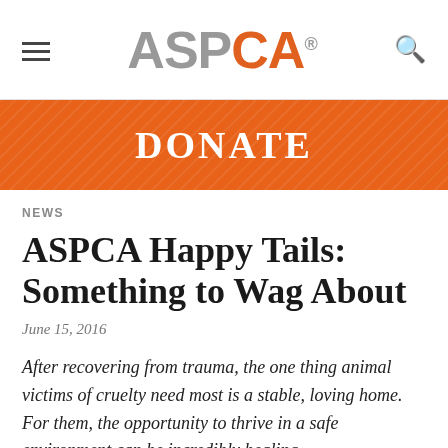ASPCA
[Figure (logo): ASPCA logo with hamburger menu on left and search icon on right]
DONATE
NEWS
ASPCA Happy Tails: Something to Wag About
June 15, 2016
After recovering from trauma, the one thing animal victims of cruelty need most is a stable, loving home. For them, the opportunity to thrive in a safe environment can be incredibly healing